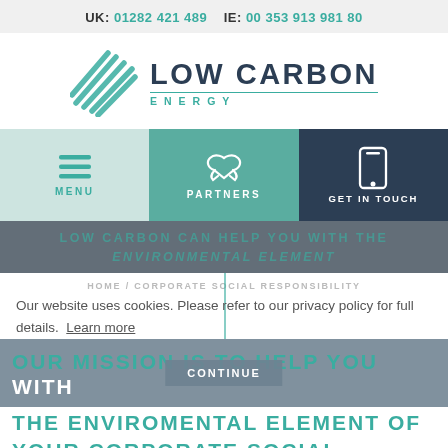UK: 01282 421 489   IE: 00 353 913 981 80
[Figure (logo): Low Carbon Energy logo with teal diagonal stripes icon and bold dark text reading LOW CARBON ENERGY]
[Figure (infographic): Navigation bar with three sections: MENU (light teal, hamburger icon), PARTNERS (teal, handshake icon), GET IN TOUCH (dark navy, mobile phone icon)]
LOW CARBON CAN HELP YOU WITH THE ENVIRONMENTAL ELEMENT
HOME / CORPORATE SOCIAL RESPONSIBILITY
Our website uses cookies. Please refer to our privacy policy for full details. Learn more
CONTINUE
OUR MISSION IS TO HELP YOU WITH THE ENVIROMENTAL ELEMENT OF YOUR CORPORATE SOCIAL